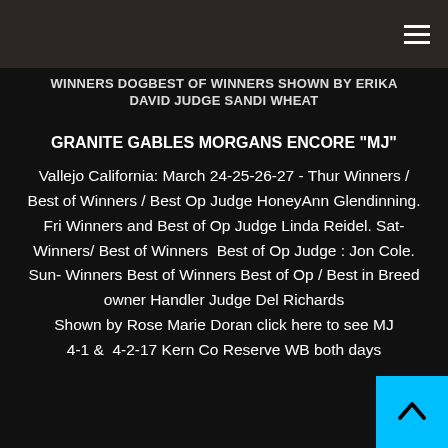☰
WINNERS DOGBEST OF WINNERS SHOWN BY ERIKA DAVID JUDGE SANDI WHEAT
GRANITE GABLES MORGANS ENCORE "MJ"
Vallejo California: March 24-25-26-27 - Thur Winners / Best of Winners / Best Op Judge HoneyAnn Glendinning. Fri Winners and Best of Op Judge Linda Reidel. Sat- Winners/ Best of Winners  Best of Op Judge : Jon Cole. Sun- Winners Best of Winners Best of Op / Best in Breed owner Handler Judge Del Richards Shown by Rose Marie Doran click here to see MJ 4-1 &  4-2-17 Kern Co Reserve WB both days